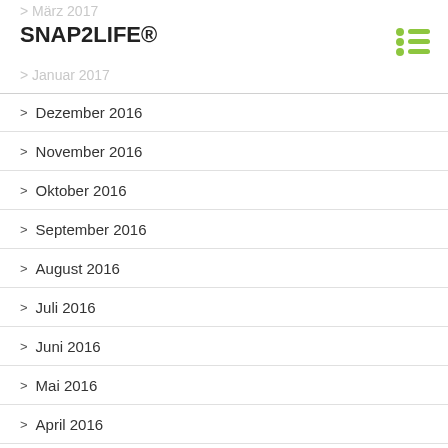März 2017
SNAP2LIFE®
Januar 2017
> Dezember 2016
> November 2016
> Oktober 2016
> September 2016
> August 2016
> Juli 2016
> Juni 2016
> Mai 2016
> April 2016
> März 2016
> Februar 2016